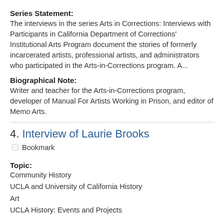Series Statement:
The interviews in the series Arts in Corrections: Interviews with Participants in California Department of Corrections' Institutional Arts Program document the stories of formerly incarcerated artists, professional artists, and administrators who participated in the Arts-in-Corrections program. A...
Biographical Note:
Writer and teacher for the Arts-in-Corrections program, developer of Manual For Artists Working in Prison, and editor of Memo Arts.
4. Interview of Laurie Brooks
☐ Bookmark
Topic:
Community History
UCLA and University of California History
Art
UCLA History: Events and Projects